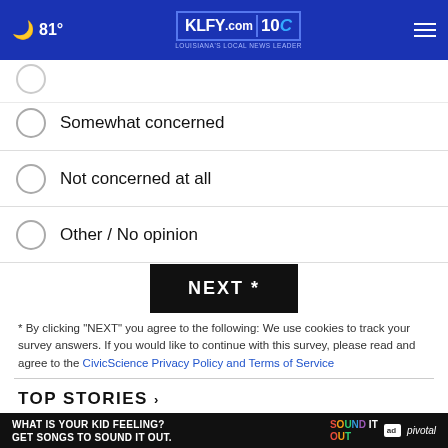KLFY.com 10 — 81°
Somewhat concerned
Not concerned at all
Other / No opinion
NEXT *
* By clicking "NEXT" you agree to the following: We use cookies to track your survey answers. If you would like to continue with this survey, please read and agree to the CivicScience Privacy Policy and Terms of Service
TOP STORIES ›
[Figure (photo): Partial photo of an instrument/mechanical object, gray tones, with a circular close button overlay]
[Figure (other): Ad banner: WHAT IS YOUR KID FEELING? GET SONGS TO SOUND IT OUT. Sound It Out / Ad Council / Pivotal]